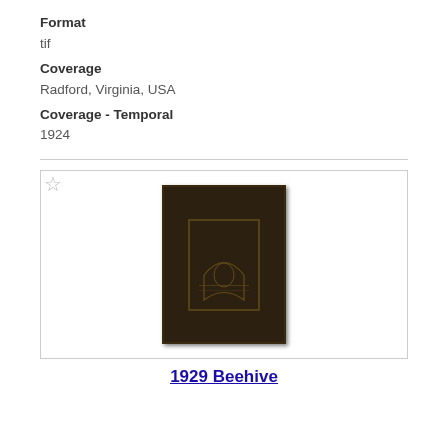Format
tif
Coverage
Radford, Virginia, USA
Coverage - Temporal
1924
[Figure (photo): Dark brown hardcover book with an embossed decorative design featuring an arched motif in the center]
1929 Beehive